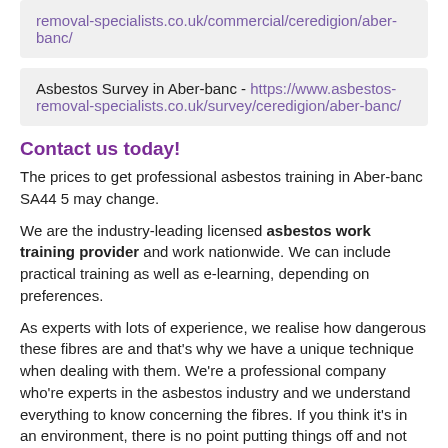removal-specialists.co.uk/commercial/ceredigion/aber-banc/
Asbestos Survey in Aber-banc - https://www.asbestos-removal-specialists.co.uk/survey/ceredigion/aber-banc/
Contact us today!
The prices to get professional asbestos training in Aber-banc SA44 5 may change.
We are the industry-leading licensed asbestos work training provider and work nationwide. We can include practical training as well as e-learning, depending on preferences.
As experts with lots of experience, we realise how dangerous these fibres are and that's why we have a unique technique when dealing with them. We're a professional company who're experts in the asbestos industry and we understand everything to know concerning the fibres. If you think it's in an environment, there is no point putting things off and not getting in touch with somebody as this might make it more serious.